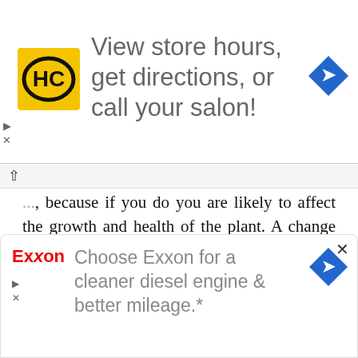[Figure (infographic): Top advertisement banner for Hair Club (HC) salons. Yellow square logo with HC initials in black on left. Text: 'View store hours, get directions, or call your salon!' in grey. Blue diamond arrow navigation icon on right. Play and X buttons on far left edge.]
...because if you do you are likely to affect the growth and health of the plant. A change in temperature can be the reason why a plant will not bloom. If you take the plant into the greenhouse and suddenly change the temperature to 75 degrees, the plant is likely to be in shock. The plant is not going to know what to do because it does not have the energy to make adaptations to the change in the weather.
Most times, we only notice the flower once it is bloomin
[Figure (infographic): Bottom advertisement banner for Exxon. Exxon logo in red on left. Text: 'Choose Exxon for a cleaner diesel engine & better mileage.*' in grey. Blue diamond arrow navigation icon on right. Play and X buttons at bottom left. X close button top right.]